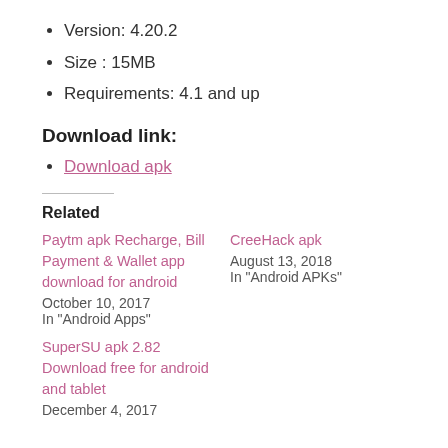Version: 4.20.2
Size : 15MB
Requirements: 4.1 and up
Download link:
Download apk
Related
Paytm apk Recharge, Bill Payment & Wallet app download for android
October 10, 2017
In "Android Apps"
CreeHack apk
August 13, 2018
In "Android APKs"
SuperSU apk 2.82 Download free for android and tablet
December 4, 2017